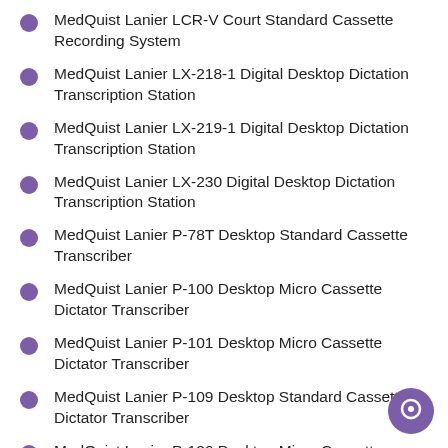MedQuist Lanier LCR-V Court Standard Cassette Recording System
MedQuist Lanier LX-218-1 Digital Desktop Dictation Transcription Station
MedQuist Lanier LX-219-1 Digital Desktop Dictation Transcription Station
MedQuist Lanier LX-230 Digital Desktop Dictation Transcription Station
MedQuist Lanier P-78T Desktop Standard Cassette Transcriber
MedQuist Lanier P-100 Desktop Micro Cassette Dictator Transcriber
MedQuist Lanier P-101 Desktop Micro Cassette Dictator Transcriber
MedQuist Lanier P-109 Desktop Standard Cassette Dictator Transcriber
MedQuist Lanier P-126 Desktop Micro Cassette Dictator Transcriber